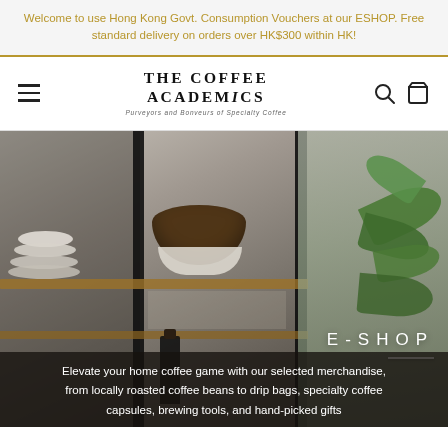Welcome to use Hong Kong Govt. Consumption Vouchers at our ESHOP. Free standard delivery on orders over HK$300 within HK!
[Figure (logo): The Coffee Academics logo — bold serif wordmark 'THE COFFEE ACADEMICS' with tagline 'Purveyors and Bonveurs of Specialty Coffee']
[Figure (photo): Hero photo of a wooden and black metal shelf holding stacked white plates, a large brown bowl, and a dark bottle; a green leafy plant is visible on the right side. Overlay shows 'E-SHOP' text with a white divider line and partial description text at bottom.]
E-SHOP
Elevate your home coffee game with our selected merchandise, from locally roasted coffee beans to drip bags, specialty coffee capsules, brewing tools, and hand-picked gifts